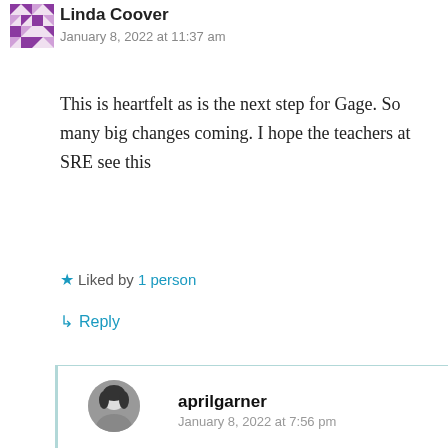Linda Coover
January 8, 2022 at 11:37 am
This is heartfelt as is the next step for Gage. So many big changes coming. I hope the teachers at SRE see this
Liked by 1 person
Reply
aprilgarner
January 8, 2022 at 7:56 pm
They did! Thank you.